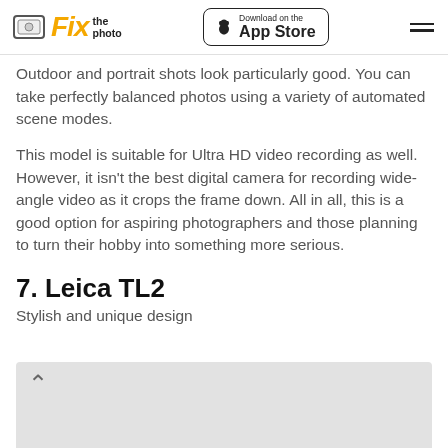Fix the photo | Download on the App Store
Outdoor and portrait shots look particularly good. You can take perfectly balanced photos using a variety of automated scene modes.
This model is suitable for Ultra HD video recording as well. However, it isn't the best digital camera for recording wide-angle video as it crops the frame down. All in all, this is a good option for aspiring photographers and those planning to turn their hobby into something more serious.
7. Leica TL2
Stylish and unique design
[Figure (photo): Bottom portion of a product image showing camera, partially visible, on a light gray background with a chevron up arrow.]